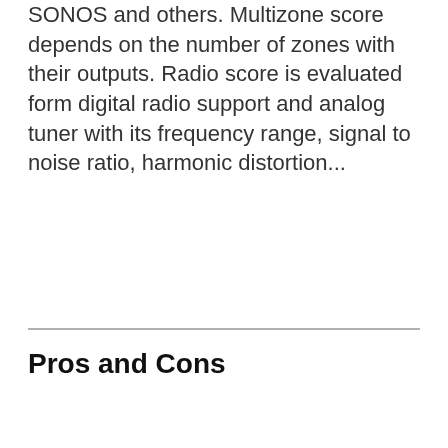SONOS and others. Multizone score depends on the number of zones with their outputs. Radio score is evaluated form digital radio support and analog tuner with its frequency range, signal to noise ratio, harmonic distortion...
Pros and Cons